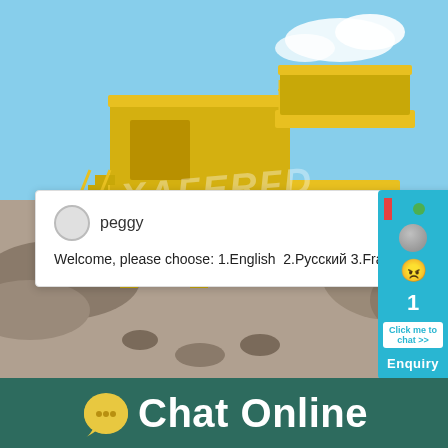[Figure (photo): Yellow mobile rock crusher / jaw crusher machine on a construction or mining site with gravel and blue sky background. Watermark text partially visible.]
peggy
Welcome, please choose: 1.English  2.Русский 3.Français 4.Español  5.bahasa Indonesia  6.عربى
Recycling - mobile Crus BBLE MASTER
Chat Online